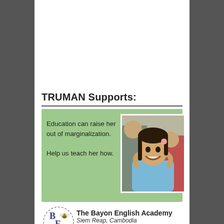TRUMAN Supports:
Education can raise her out of marginalization.

Help us teach her how.
[Figure (photo): A smiling young girl making a heart shape with her hands, with other children in the background]
[Figure (logo): The Bayon English Academy (BEA) circular logo with a bee and the letters B, E, A]
The Bayon English Academy
Siem Reap, Cambodia